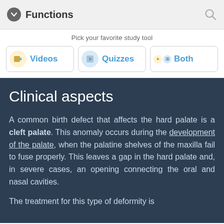Functions
Pick your favorite study tool
Videos   Quizzes   Both
Clinical aspects
A common birth defect that affects the hard palate is a cleft palate. This anomaly occurs during the development of the palate, when the palatine shelves of the maxilla fail to fuse properly. This leaves a gap in the hard palate and, in severe cases, an opening connecting the oral and nasal cavities.
The treatment for this type of deformity is